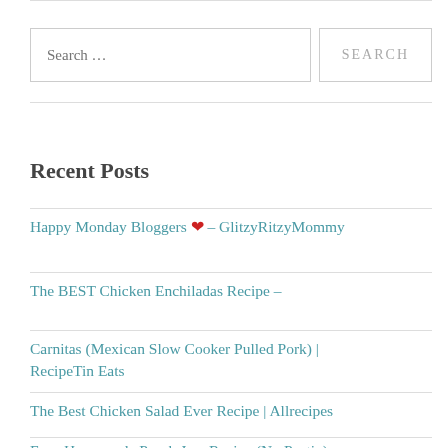Search …
Recent Posts
Happy Monday Bloggers ❤ – GlitzyRitzyMommy
The BEST Chicken Enchiladas Recipe –
Carnitas (Mexican Slow Cooker Pulled Pork) | RecipeTin Eats
The Best Chicken Salad Ever Recipe | Allrecipes
Easy Homemade Peach Jam Recipe (No Pectin) – Scattered Thoughts of a Crafty Mom by Jamie